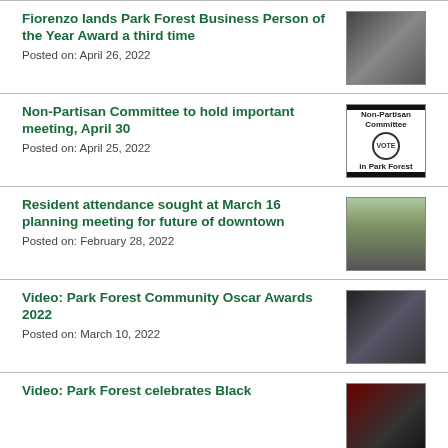Fiorenzo lands Park Forest Business Person of the Year Award a third time
Posted on: April 26, 2022
[Figure (photo): Two people holding an award trophy]
Non-Partisan Committee to hold important meeting, April 30
Posted on: April 25, 2022
[Figure (photo): Non-Partisan Committee in Park Forest flyer with vote badge]
Resident attendance sought at March 16 planning meeting for future of downtown
Posted on: February 28, 2022
[Figure (photo): Aerial or street view of downtown area]
Video: Park Forest Community Oscar Awards 2022
Posted on: March 10, 2022
[Figure (photo): Person on stage at Oscar Awards ceremony]
Video: Park Forest celebrates Black